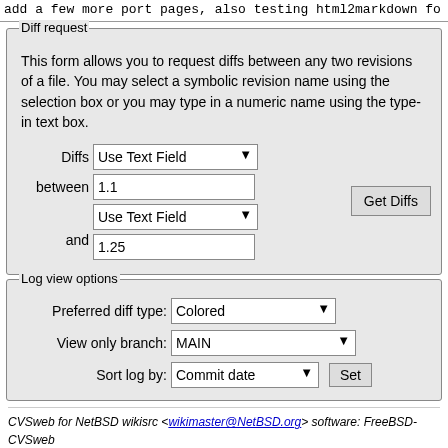add a few more port pages, also testing html2markdown fo
This form allows you to request diffs between any two revisions of a file. You may select a symbolic revision name using the selection box or you may type in a numeric name using the type-in text box.
[Figure (screenshot): Diff request form with Diffs dropdown set to 'Use Text Field', between field showing '1.1', and dropdown set to 'Use Text Field', and field showing '1.25', with a 'Get Diffs' button]
[Figure (screenshot): Log view options form with Preferred diff type set to 'Colored', View only branch set to 'MAIN', Sort log by set to 'Commit date', with a 'Set' button]
CVSweb for NetBSD wikisrc <wikimaster@NetBSD.org> software: FreeBSD-CVSweb